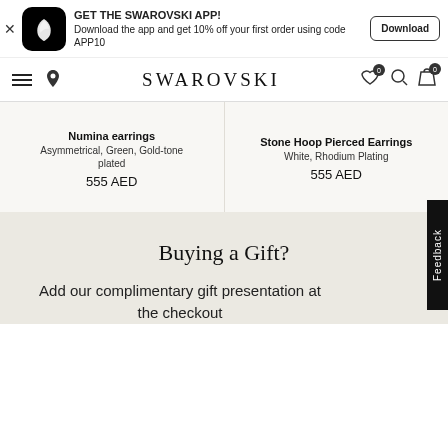GET THE SWAROVSKI APP! Download the app and get 10% off your first order using code APP10 | Download
SWAROVSKI
Numina earrings
Asymmetrical, Green, Gold-tone plated
555 AED
Stone Hoop Pierced Earrings
White, Rhodium Plating
555 AED
Buying a Gift?
Add our complimentary gift presentation at the checkout